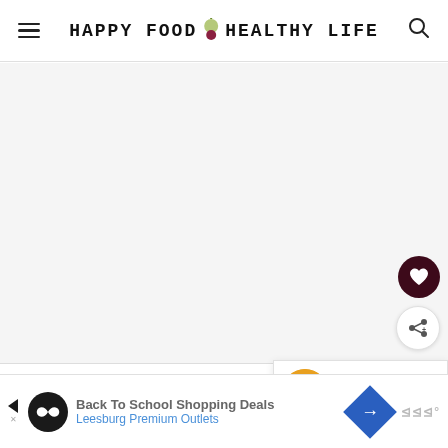HAPPY FOOD HEALTHY LIFE
[Figure (photo): Large main image area, mostly white/blank placeholder for food photo]
[Figure (illustration): Dark circular heart/favorite button floating on right side]
[Figure (illustration): White circular share button floating on right side]
[Figure (illustration): What's Next panel with food thumbnail and text: EASY & CREAMY...]
[Figure (infographic): Ad banner: Back To School Shopping Deals, Leesburg Premium Outlets]